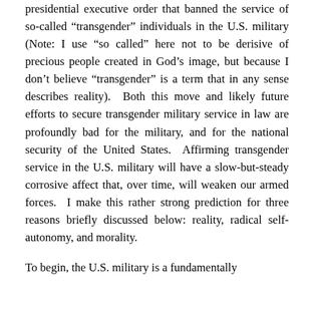presidential executive order that banned the service of so-called “transgender” individuals in the U.S. military (Note: I use “so called” here not to be derisive of precious people created in God’s image, but because I don’t believe “transgender” is a term that in any sense describes reality). Both this move and likely future efforts to secure transgender military service in law are profoundly bad for the military, and for the national security of the United States. Affirming transgender service in the U.S. military will have a slow-but-steady corrosive affect that, over time, will weaken our armed forces. I make this rather strong prediction for three reasons briefly discussed below: reality, radical self-autonomy, and morality.
To begin, the U.S. military is a fundamentally